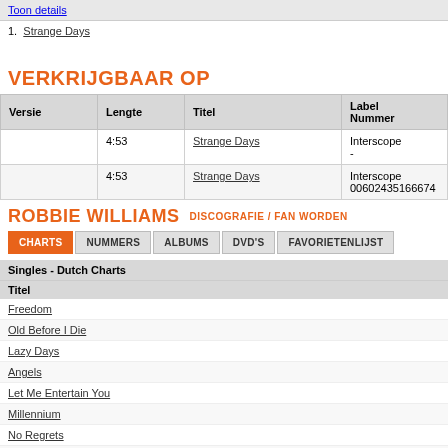Toon details
1. Strange Days
VERKRIJGBAAR OP
| Versie | Lengte | Titel | Label
Nummer |
| --- | --- | --- | --- |
|  | 4:53 | Strange Days | Interscope
- |
|  | 4:53 | Strange Days | Interscope
00602435166674 |
ROBBIE WILLIAMS DISCOGRAFIE / FAN WORDEN
CHARTS | NUMMERS | ALBUMS | DVD'S | FAVORIETENLIJST
Singles - Dutch Charts
Titel
Freedom
Old Before I Die
Lazy Days
Angels
Let Me Entertain You
Millennium
No Regrets
Strong
She's The One
Rock DJ
Kids (Robbie Williams & Kylie Minogue)